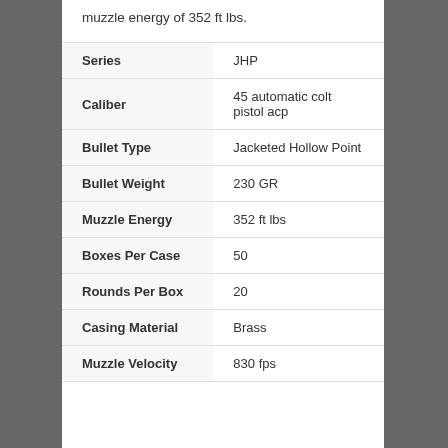muzzle energy of 352 ft lbs.
| Property | Value |
| --- | --- |
| Series | JHP |
| Caliber | 45 automatic colt pistol acp |
| Bullet Type | Jacketed Hollow Point |
| Bullet Weight | 230 GR |
| Muzzle Energy | 352 ft lbs |
| Boxes Per Case | 50 |
| Rounds Per Box | 20 |
| Casing Material | Brass |
| Muzzle Velocity | 830 fps |